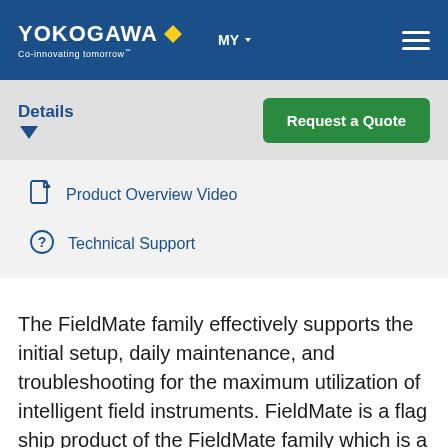[Figure (logo): Yokogawa logo with diamond icon and tagline 'Co-innovating tomorrow' on blue header bar with MY country selector and hamburger menu]
Details
Product Overview Video
Technical Support
The FieldMate family effectively supports the initial setup, daily maintenance, and troubleshooting for the maximum utilization of intelligent field instruments. FieldMate is a flag ship product of the FieldMate family which is a PC based full functional and full field protocol configuration tool. The YHC5150X FieldMate